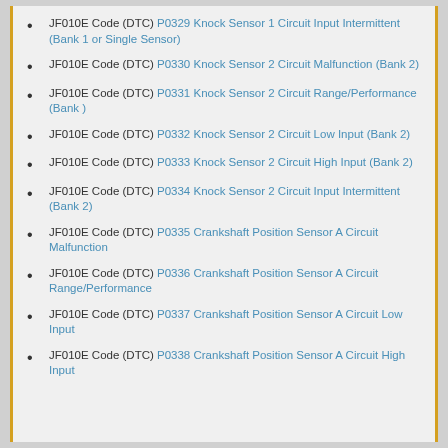JF010E Code (DTC) P0329 Knock Sensor 1 Circuit Input Intermittent (Bank 1 or Single Sensor)
JF010E Code (DTC) P0330 Knock Sensor 2 Circuit Malfunction (Bank 2)
JF010E Code (DTC) P0331 Knock Sensor 2 Circuit Range/Performance (Bank )
JF010E Code (DTC) P0332 Knock Sensor 2 Circuit Low Input (Bank 2)
JF010E Code (DTC) P0333 Knock Sensor 2 Circuit High Input (Bank 2)
JF010E Code (DTC) P0334 Knock Sensor 2 Circuit Input Intermittent (Bank 2)
JF010E Code (DTC) P0335 Crankshaft Position Sensor A Circuit Malfunction
JF010E Code (DTC) P0336 Crankshaft Position Sensor A Circuit Range/Performance
JF010E Code (DTC) P0337 Crankshaft Position Sensor A Circuit Low Input
JF010E Code (DTC) P0338 Crankshaft Position Sensor A Circuit High Input